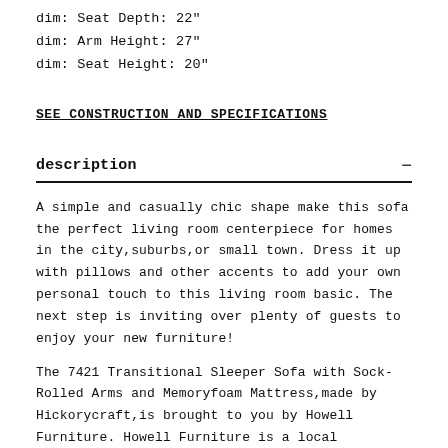dim: Seat Depth: 22"
dim: Arm Height: 27"
dim: Seat Height: 20"
SEE CONSTRUCTION AND SPECIFICATIONS
description
A simple and casually chic shape make this sofa the perfect living room centerpiece for homes in the city,suburbs,or small town. Dress it up with pillows and other accents to add your own personal touch to this living room basic. The next step is inviting over plenty of guests to enjoy your new furniture!
The 7421 Transitional Sleeper Sofa with Sock-Rolled Arms and Memoryfoam Mattress,made by Hickorycraft,is brought to you by Howell Furniture. Howell Furniture is a local